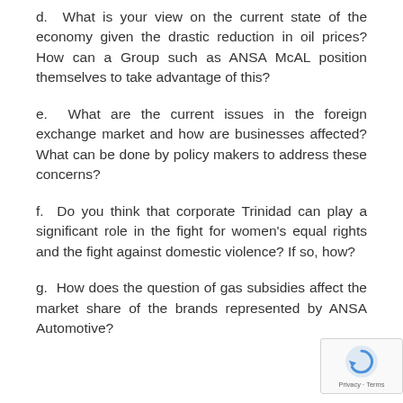d.  What is your view on the current state of the economy given the drastic reduction in oil prices? How can a Group such as ANSA McAL position themselves to take advantage of this?
e.  What are the current issues in the foreign exchange market and how are businesses affected? What can be done by policy makers to address these concerns?
f.  Do you think that corporate Trinidad can play a significant role in the fight for women's equal rights and the fight against domestic violence? If so, how?
g.  How does the question of gas subsidies affect the market share of the brands represented by ANSA Automotive?